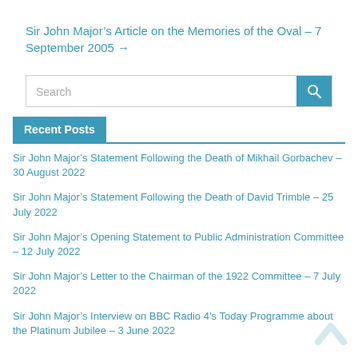Sir John Major’s Article on the Memories of the Oval – 7 September 2005 →
Search
Recent Posts
Sir John Major’s Statement Following the Death of Mikhail Gorbachev – 30 August 2022
Sir John Major’s Statement Following the Death of David Trimble – 25 July 2022
Sir John Major’s Opening Statement to Public Administration Committee – 12 July 2022
Sir John Major’s Letter to the Chairman of the 1922 Committee – 7 July 2022
Sir John Major’s Interview on BBC Radio 4’s Today Programme about the Platinum Jubilee – 3 June 2022